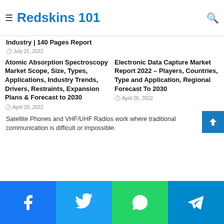Redskins 101
In 2022  Rising Demand in Passenger Cars, Cars in Industry | 140 Pages Report
Global Sales Data 2022, Regional Demand and Revenue Growth
July 21, 2022
Atomic Absorption Spectroscopy Market Scope, Size, Types, Applications, Industry Trends, Drivers, Restraints, Expansion Plans & Forecast to 2030
April 28, 2022
Electronic Data Capture Market Report 2022 – Players, Countries, Type and Application, Regional Forecast To 2030
April 26, 2022
Satellite Phones and VHF/UHF Radios work where traditional communication is difficult or impossible.
Facebook Twitter WhatsApp Telegram